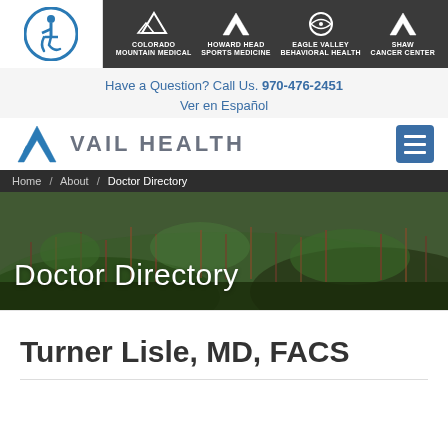[Figure (logo): Accessibility icon (wheelchair user in circle) and dark navigation bar with logos for Colorado Mountain Medical, Howard Head Sports Medicine, Eagle Valley Behavioral Health, Shaw Cancer Center]
Have a Question? Call Us. 970-476-2451
Ver en Español
[Figure (logo): Vail Health logo with V chevron mark and VAIL HEALTH text, plus hamburger menu button]
Home / About / Doctor Directory
Doctor Directory
Turner Lisle, MD, FACS